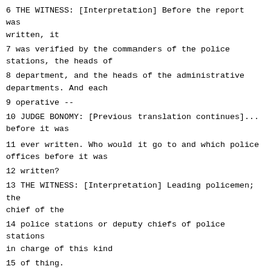6 THE WITNESS: [Interpretation] Before the report was written, it
7 was verified by the commanders of the police stations, the heads of
8 department, and the heads of the administrative departments. And each
9 operative --
10 JUDGE BONOMY: [Previous translation continues]... before it was
11 ever written. Who would it go to and which police offices before it was
12 written?
13 THE WITNESS: [Interpretation] Leading policemen; the chief of the
14 police stations or deputy chiefs of police stations in charge of this kind
15 of thing.
16 JUDGE BONOMY: Your staff are working in a police station. So
17 which other police stations would this go to before